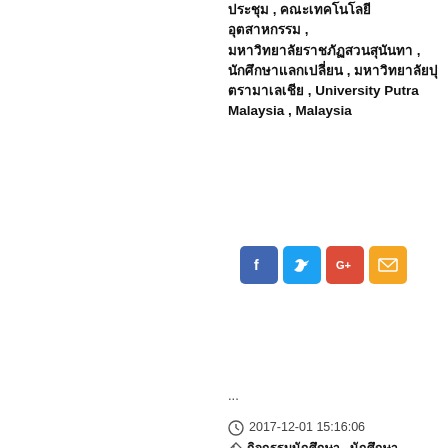ประชุม , คณะเทคโนโลยีอุตสาหกรรม , มหาวิทยาลัยราชภัฏสวนสุนันทา , นักศึกษาแลกเปลี่ยน , มหาวิทยาลัยปุตรามาเลเชีย , University Putra Malaysia , Malaysia
[Figure (infographic): Row of social share buttons: Facebook (blue), Twitter (blue), Google+ (red), Email (yellow/orange)]
...
2017-12-01 15:16:06
กิจกรรมนักศึกษา , นักศึกษา , วิทยาลัยสถาปัตยกรรมศาสตร์ , คณะเทคโนโลยีอุตสาหกรรม , มหาวิทยาลัยราชภัฏสวนสุนันทา , อัลบั้ม Facebook
[Figure (infographic): Row of social share buttons: Facebook (blue), Twitter (blue), Google+ (red), Email (yellow/orange)]
« 1 2 »